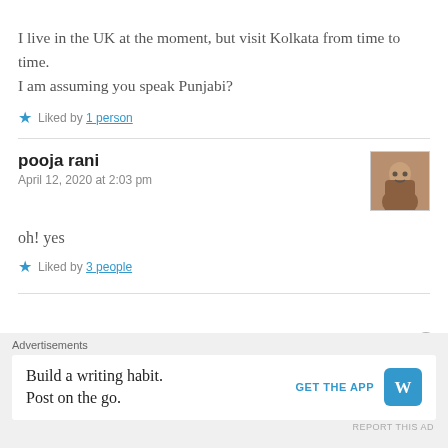I live in the UK at the moment, but visit Kolkata from time to time. I am assuming you speak Punjabi?
★ Liked by 1 person
pooja rani
April 12, 2020 at 2:03 pm
oh! yes
★ Liked by 3 people
Advertisements
Build a writing habit. Post on the go. GET THE APP [WordPress logo]